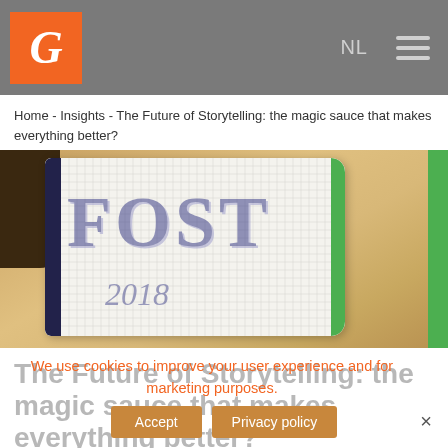G NL ☰
Home - Insights - The Future of Storytelling: the magic sauce that makes everything better?
[Figure (photo): Aerial view of a grid-paper notebook open showing 'FOST 2018' in large stylized navy blue lettering, placed on a sandy/wooden surface with a green ribbon bookmark on the right side.]
The Future of Storytelling: the magic sauce that makes everything better?
We use cookies to improve your user experience and for marketing purposes.
Accept   Privacy policy   ×